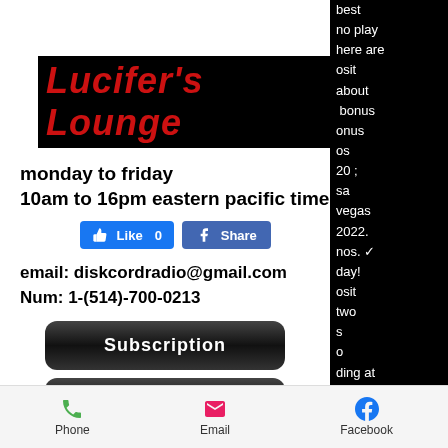Lucifer's Lounge
monday to friday
10am to 16pm eastern pacific time
[Figure (screenshot): Facebook Like and Share buttons]
email: diskcordradio@gmail.com
Num: 1-(514)-700-0213
[Figure (screenshot): Subscription button (dark rounded)]
[Figure (screenshot): PODCAST button (dark rounded)]
[Figure (screenshot): Lucifers Lounge button (dark rounded)]
best
no play
here are
osit
about
bonus
onus
os
20 ;
sa
vegas
2022.
nos. ✓
day!
osit
two
s
o
ding at
Phone    Email    Facebook